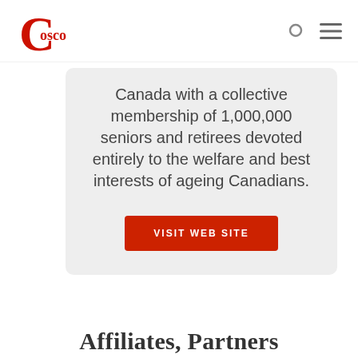[Figure (logo): COSCO logo — red stylized 'C' with 'osco' in red serif text]
Canada with a collective membership of 1,000,000 seniors and retirees devoted entirely to the welfare and best interests of ageing Canadians.
VISIT WEB SITE
Affiliates, Partners